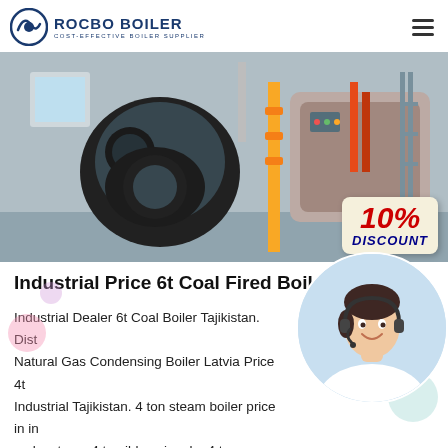ROCBO BOILER — COST-EFFECTIVE BOILER SUPPLIER
[Figure (photo): Industrial boiler equipment in a factory setting with a 10% Discount badge overlay]
Industrial Price 6t Coal Fired Boiler Latvia
Industrial Dealer 6t Coal Boiler Tajikistan. Dist… Natural Gas Condensing Boiler Latvia Price 4t… Industrial Tajikistan. 4 ton steam boiler price in in… make steam 4 ton ibl vapi make 4 ton capacity steam type…